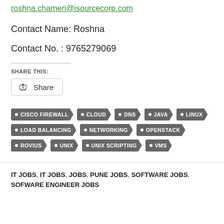roshna.chameri@isourcecorp.com
Contact Name: Roshna
Contact No. : 9765279069
SHARE THIS:
[Figure (other): Share button with circular arrows icon]
CISCO FIREWALL, CLOUD, DNS, JAVA, LINUX, LOAD BALANCING, NETWORKING, OPENSTACK, ROVIUS, UNIX, UNIX SCRIPTING, VMS
IT JOBS, IT JOBS, JOBS, PUNE JOBS, SOFTWARE JOBS, SOFWARE ENGINEER JOBS